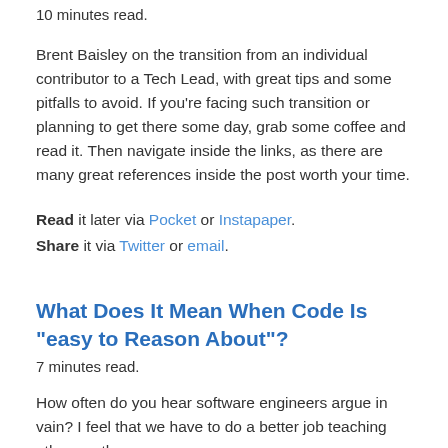10 minutes read.
Brent Baisley on the transition from an individual contributor to a Tech Lead, with great tips and some pitfalls to avoid. If you're facing such transition or planning to get there some day, grab some coffee and read it. Then navigate inside the links, as there are many great references inside the post worth your time.
Read it later via Pocket or Instapaper. Share it via Twitter or email.
What Does It Mean When Code Is “easy to Reason About”?
7 minutes read.
How often do you hear software engineers argue in vain? I feel that we have to do a better job teaching others, rather